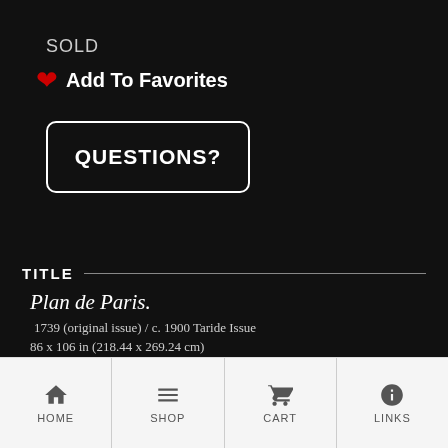SOLD
Add To Favorites
QUESTIONS?
TITLE
Plan de Paris.
1739 (original issue) / c. 1900 Taride Issue
86 x 106 in (218.44 x 269.24 cm)
HOME   SHOP   CART   LINKS